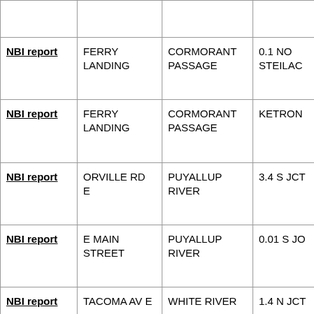|  | Road/Street | Feature Crossed | Location |
| --- | --- | --- | --- |
| NBI report | FERRY LANDING | CORMORANT PASSAGE | 0.1 NO STEILAC |
| NBI report | FERRY LANDING | CORMORANT PASSAGE | KETRON |
| NBI report | ORVILLE RD E | PUYALLUP RIVER | 3.4 S JCT |
| NBI report | E MAIN STREET | PUYALLUP RIVER | 0.01 S JC |
| NBI report | TACOMA AV E | WHITE RIVER | 1.4 N JCT |
| NBI report | WRIGHT BLISS RD NW | EAST FORK ROCKY CREEK | 0.6 MI. N ELGIN |